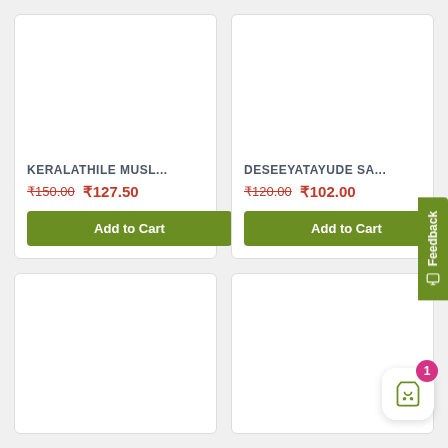[Figure (screenshot): E-commerce product listing page showing four product cards in a 2x2 grid. Top-left card: KERALATHILE MUSL... priced at ₹150.00 (strikethrough) and ₹127.50, with Add to Cart button. Top-right card: DESEEYATAYUDE SA... priced at ₹120.00 (strikethrough) and ₹102.00, with Add to Cart button. Bottom two cards are partially visible. A Feedback tab is on the right side. A cart icon with badge showing 1 is in the bottom right corner.]